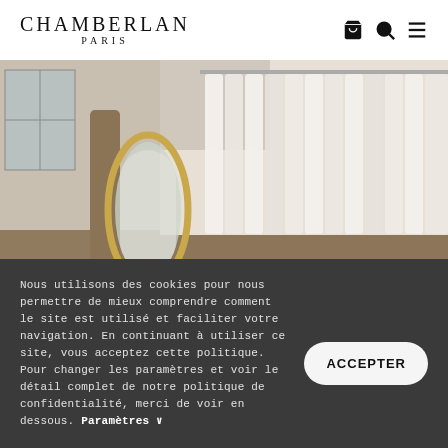CHAMBERLAN PARIS
[Figure (photo): Interior of a bridal boutique showing a tall gold-framed oval mirror and rows of white wedding dresses hanging on racks]
Nous utilisons des cookies pour nous permettre de mieux comprendre comment le site est utilisé et faciliter votre navigation. En continuant à utiliser ce site, vous acceptez cette politique. Pour changer les paramètres et voir le détail complet de notre politique de confidentialité, merci de voir en dessous. Paramètres ∨